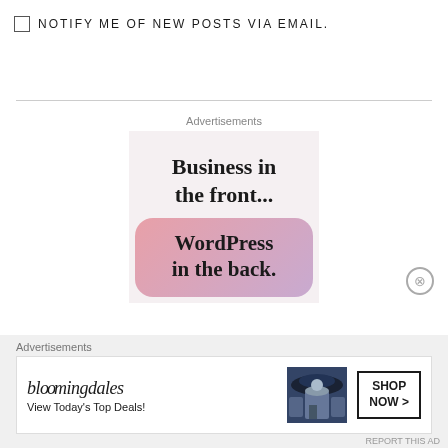NOTIFY ME OF NEW POSTS VIA EMAIL.
[Figure (infographic): WordPress advertisement: 'Business in the front... WordPress in the back.' with pink/lavender gradient lower panel]
Advertisements
[Figure (infographic): Bloomingdale's advertisement: bloomingdales logo, 'View Today's Top Deals!', woman in hat, SHOP NOW > button]